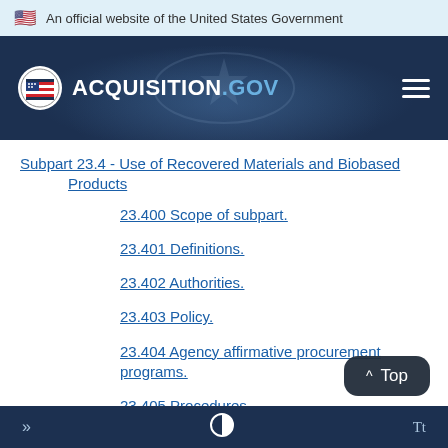An official website of the United States Government
[Figure (logo): ACQUISITION.GOV logo with US flag icon on dark navy header background]
Subpart 23.4 - Use of Recovered Materials and Biobased Products
23.400 Scope of subpart.
23.401 Definitions.
23.402 Authorities.
23.403 Policy.
23.404 Agency affirmative procurement programs.
23.405 Procedures.
23.406 Solicitation provisions and contract clauses.
» | contrast toggle | Tt